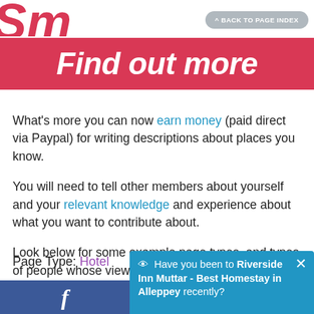[Figure (logo): Partial red italic logo letters cropped at top-left]
^ BACK TO PAGE INDEX
Find out more
What's more you can now earn money (paid direct via Paypal) for writing descriptions about places you know.
You will need to tell other members about yourself and your relevant knowledge and experience about what you want to contribute about.
Look below for some example page types, and types of people whose views on a place might be useful to know.
Page Type: Hotel
Are there any speci…
Have you been to Riverside Inn Muttar - Best Homestay in Alleppey recently?